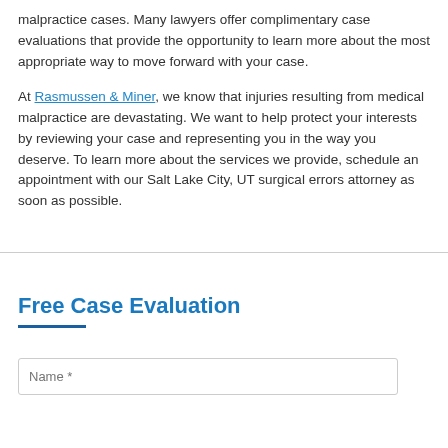malpractice cases. Many lawyers offer complimentary case evaluations that provide the opportunity to learn more about the most appropriate way to move forward with your case.
At Rasmussen & Miner, we know that injuries resulting from medical malpractice are devastating. We want to help protect your interests by reviewing your case and representing you in the way you deserve. To learn more about the services we provide, schedule an appointment with our Salt Lake City, UT surgical errors attorney as soon as possible.
Free Case Evaluation